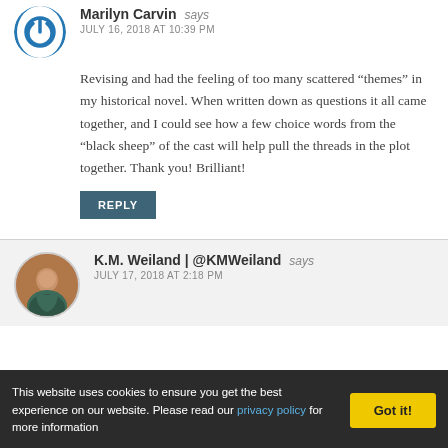Marilyn Carvin says
JULY 16, 2018 AT 10:39 PM
Revising and had the feeling of too many scattered “themes” in my historical novel. When written down as questions it all came together, and I could see how a few choice words from the “black sheep” of the cast will help pull the threads in the plot together. Thank you! Brilliant!
REPLY
K.M. Weiland | @KMWeiland says
JULY 17, 2018 AT 2:18 PM
This website uses cookies to ensure you get the best experience on our website. Please read our privacy policy for more information